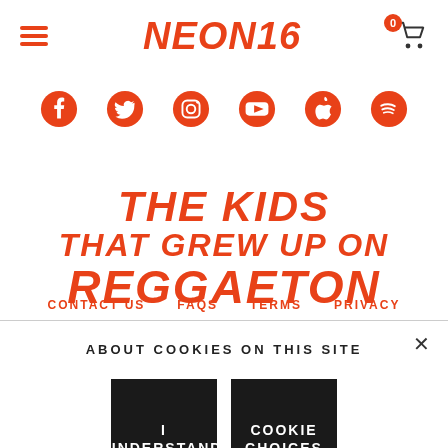NEON6 — hamburger menu, cart with 0 items
[Figure (illustration): Row of social media icons in orange: Facebook, Twitter, Instagram, YouTube, Apple, Spotify]
THE KIDS THAT GREW UP ON REGGAETON
CONTACT US   FAQS   TERMS   PRIVACY
ABOUT COOKIES ON THIS SITE
I UNDERSTAND
COOKIE CHOICES